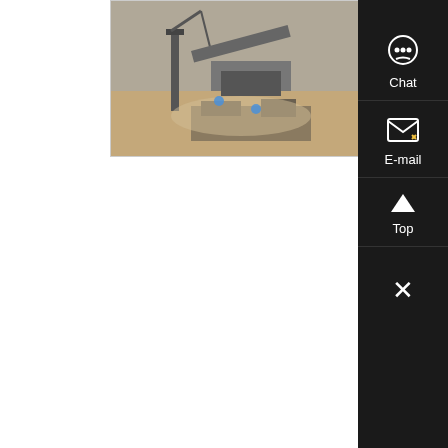[Figure (photo): Outdoor mining/quarry site with heavy equipment and machinery, dusty industrial setting]
saving Silica Ball Mill/powder machinery hematite
The features of ball mill Energy-Saving Ball Mill Features: 1)It is an efficient tool for grinding many materials into fine powder 2) The ball mill is used to ....
Know More